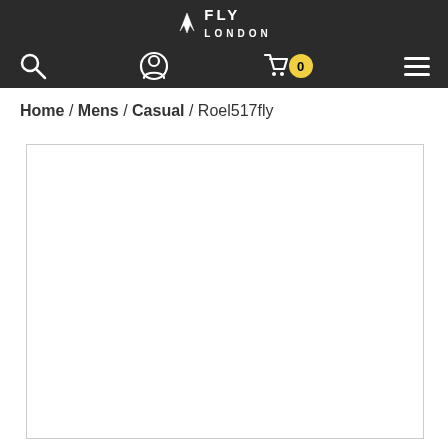FLY LONDON — navigation header with logo, search, account, cart (0), and menu icons
Home / Mens / Casual / Roel517fly
[Figure (photo): Empty white product image placeholder with light grey border]